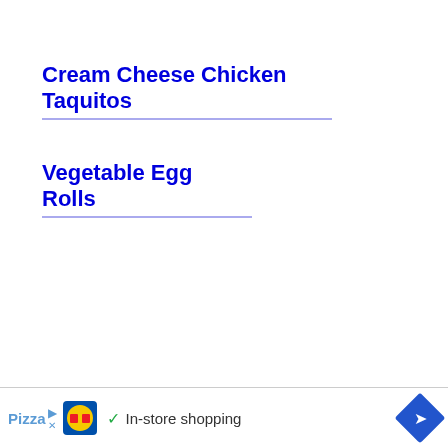Cream Cheese Chicken Taquitos
Vegetable Egg Rolls
[Figure (infographic): Advertisement bar at bottom of page showing Lidl logo, checkmark, 'In-store shopping' text, and navigation arrow button. Partially visible text 'Pizza' on left side.]